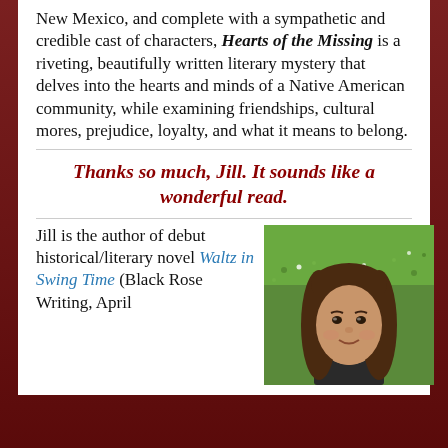New Mexico, and complete with a sympathetic and credible cast of characters, Hearts of the Missing is a riveting, beautifully written literary mystery that delves into the hearts and minds of a Native American community, while examining friendships, cultural mores, prejudice, loyalty, and what it means to belong.
Thanks so much, Jill. It sounds like a wonderful read.
Jill is the author of debut historical/literary novel Waltz in Swing Time (Black Rose Writing, April
[Figure (photo): Headshot of a woman with long brown hair, smiling, outdoors on green grass]